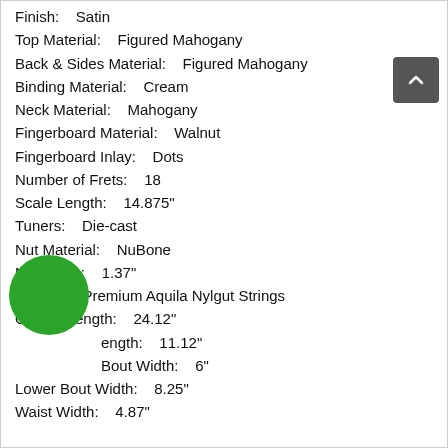Finish:    Satin
Top Material:    Figured Mahogany
Back & Sides Material:    Figured Mahogany
Binding Material:    Cream
Neck Material:    Mahogany
Fingerboard Material:    Walnut
Fingerboard Inlay:    Dots
Number of Frets:    18
Scale Length:    14.875"
Tuners:    Die-cast
Nut Material:    NuBone
Nut Width:    1.37"
Strings:    Premium Aquila Nylgut Strings
Overall Length:    24.12"
Body Length:    11.12"
Upper Bout Width:    6"
Lower Bout Width:    8.25"
Waist Width:    4.87"